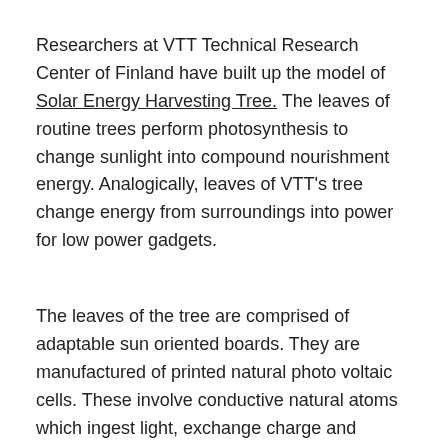Researchers at VTT Technical Research Center of Finland have built up the model of Solar Energy Harvesting Tree. The leaves of routine trees perform photosynthesis to change sunlight into compound nourishment energy. Analogically, leaves of VTT’s tree change energy from surroundings into power for low power gadgets.
The leaves of the tree are comprised of adaptable sun oriented boards. They are manufactured of printed natural photo voltaic cells. These involve conductive natural atoms which ingest light, exchange charge and produce power utilizing photograph voltaic